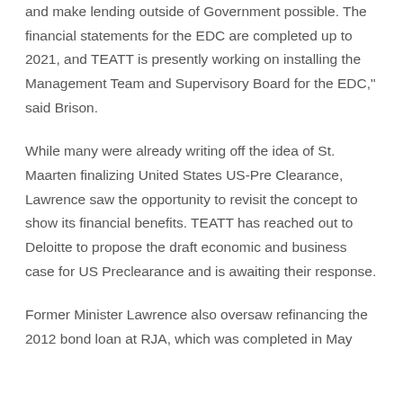and make lending outside of Government possible. The financial statements for the EDC are completed up to 2021, and TEATT is presently working on installing the Management Team and Supervisory Board for the EDC," said Brison.
While many were already writing off the idea of St. Maarten finalizing United States US-Pre Clearance, Lawrence saw the opportunity to revisit the concept to show its financial benefits. TEATT has reached out to Deloitte to propose the draft economic and business case for US Preclearance and is awaiting their response.
Former Minister Lawrence also oversaw refinancing the 2012 bond loan at RJA, which was completed in May...